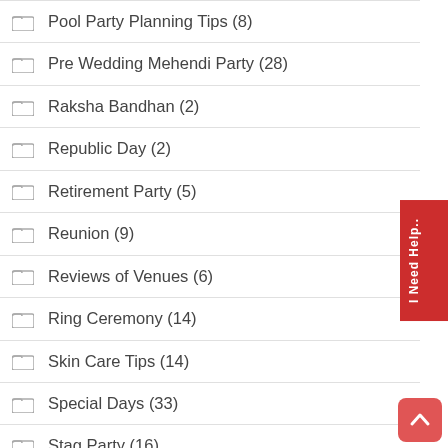Pool Party Planning Tips (8)
Pre Wedding Mehendi Party (28)
Raksha Bandhan (2)
Republic Day (2)
Retirement Party (5)
Reunion (9)
Reviews of Venues (6)
Ring Ceremony (14)
Skin Care Tips (14)
Special Days (33)
Stag Party (16)
Teachers Day (4)
Team Building Games (5)
Teen Party Games (5)
Thanksgiving Day (1)